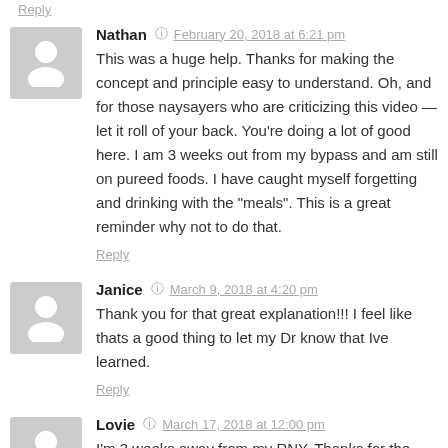Reply
Nathan  February 20, 2018 at 6:21 pm
This was a huge help. Thanks for making the concept and principle easy to understand. Oh, and for those naysayers who are criticizing this video — let it roll of your back. You're doing a lot of good here. I am 3 weeks out from my bypass and am still on pureed foods. I have caught myself forgetting and drinking with the "meals". This is a great reminder why not to do that.
Reply
Janice  March 9, 2018 at 4:20 pm
Thank you for that great explanation!!! I feel like thats a good thing to let my Dr know that Ive learned.
Reply
Lovie  March 17, 2018 at 12:00 pm
I'm 3 weeks away from my RNY. Thanks for the great explanation and demo. Sure drives the point home. Thank you so much.